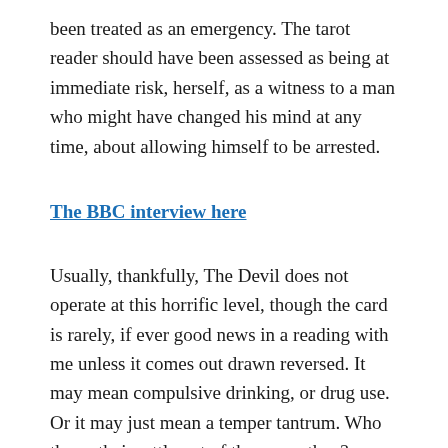been treated as an emergency. The tarot reader should have been assessed as being at immediate risk, herself, as a witness to a man who might have changed his mind at any time, about allowing himself to be arrested.
The BBC interview here
Usually, thankfully, The Devil does not operate at this horrific level, though the card is rarely, if ever good news in a reading with me unless it comes out drawn reversed. It may mean compulsive drinking, or drug use. Or it may just mean a temper tantrum. Who threw their rattle out of the pram, then?
There is a school of thought that presents the Devil